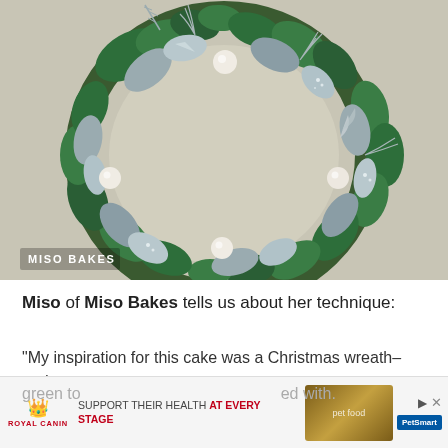[Figure (photo): Close-up photograph of a Christmas wreath cake decoration featuring green and silver/grey leaves, white pearl-like balls, glittery silver accents, and small feathery silver fronds on a light beige/cream background. Watermark reading 'MISO BAKES' in white text in lower left corner.]
Miso of Miso Bakes tells us about her technique:
"My inspiration for this cake was a Christmas wreath– and my inter[est...] of green to [...] ed with.
[Figure (infographic): Advertisement banner for Royal Canin pet food at PetSmart. Shows Royal Canin logo, text 'SUPPORT THEIR HEALTH AT EVERY STAGE', pet food product images, and PetSmart branding with close/play controls.]